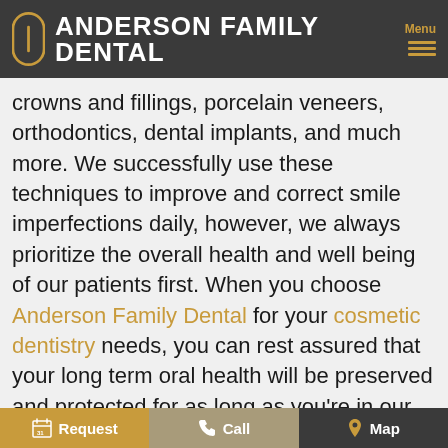ANDERSON FAMILY DENTAL
crowns and fillings, porcelain veneers, orthodontics, dental implants, and much more. We successfully use these techniques to improve and correct smile imperfections daily, however, we always prioritize the overall health and well being of our patients first. When you choose Anderson Family Dental for your cosmetic dentistry needs, you can rest assured that your long term oral health will be preserved and protected for as long as you're in our care. For the patient-centered treatment you deserve, schedule a cosmetic dentistry consultation appointment
Request | Call | Map